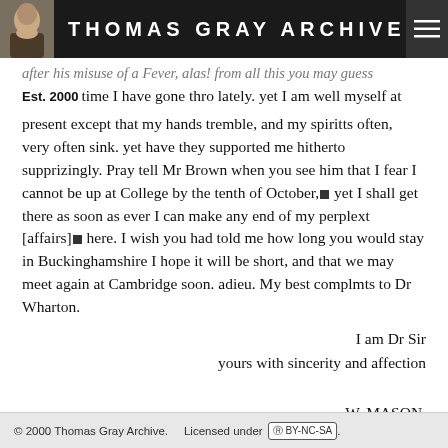THOMAS GRAY ARCHIVE
after his misuse of a Fever, alas! from all this you may guess [Est. 2000] time I have gone thro lately. yet I am well myself at present except that my hands tremble, and my spiritts often, very often sink. yet have they supported me hitherto supprizingly. Pray tell Mr Brown when you see him that I fear I cannot be up at College by the tenth of October, yet I shall get there as soon as ever I can make any end of my perplext [affairs] here. I wish you had told me how long you would stay in Buckinghamshire I hope it will be short, and that we may meet again at Cambridge soon. adieu. My best complmts to Dr Wharton.
I am Dr Sir
yours with sincerity and affection

W. MASON.
Hull Sept. 23d–53
Do write to me again very soon.
© 2000 Thomas Gray Archive.    Licensed under (cc) BY-NC-SA.